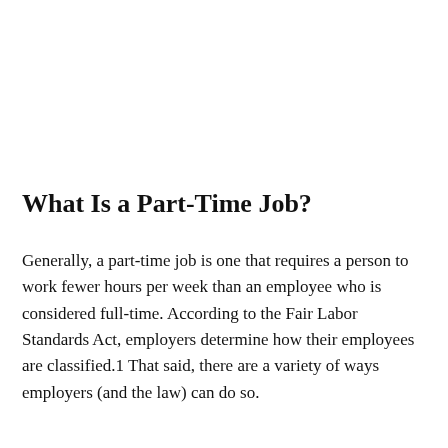What Is a Part-Time Job?
Generally, a part-time job is one that requires a person to work fewer hours per week than an employee who is considered full-time. According to the Fair Labor Standards Act, employers determine how their employees are classified.1 That said, there are a variety of ways employers (and the law) can do so.